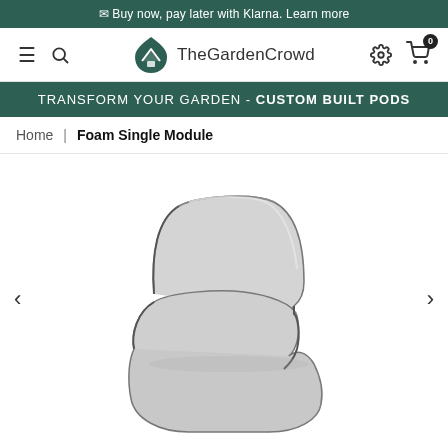Buy now, pay later with Klarna. Learn more
[Figure (logo): TheGardenCrowd logo with mountain/tent icon and navigation bar with hamburger menu, search, settings gear icon, and cart with 0 badge]
TRANSFORM YOUR GARDEN - CUSTOM BUILT PODS
Home | Foam Single Module
[Figure (photo): A modern light grey foam single module armchair/sofa seat with curved backrest and seat cushion, with dark piping trim, shown on white background. Navigation arrows on left and right sides.]